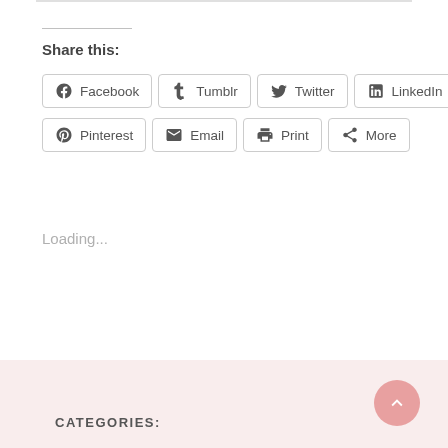Share this:
Facebook
Tumblr
Twitter
LinkedIn
Pinterest
Email
Print
More
Loading...
CATEGORIES: